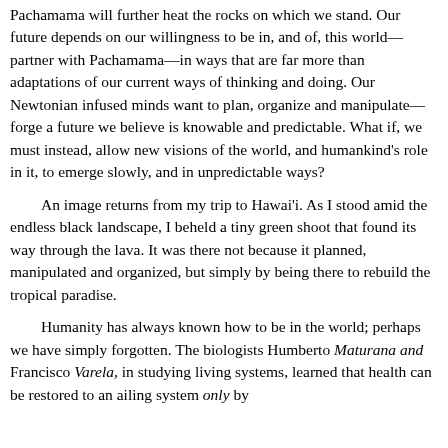Pachamama will further heat the rocks on which we stand. Our future depends on our willingness to be in, and of, this world—partner with Pachamama—in ways that are far more than adaptations of our current ways of thinking and doing. Our Newtonian infused minds want to plan, organize and manipulate—forge a future we believe is knowable and predictable. What if, we must instead, allow new visions of the world, and humankind's role in it, to emerge slowly, and in unpredictable ways?
An image returns from my trip to Hawai'i. As I stood amid the endless black landscape, I beheld a tiny green shoot that found its way through the lava. It was there not because it planned, manipulated and organized, but simply by being there to rebuild the tropical paradise.
Humanity has always known how to be in the world; perhaps we have simply forgotten. The biologists Humberto Maturana and Francisco Varela, in studying living systems, learned that health can be restored to an ailing system only by